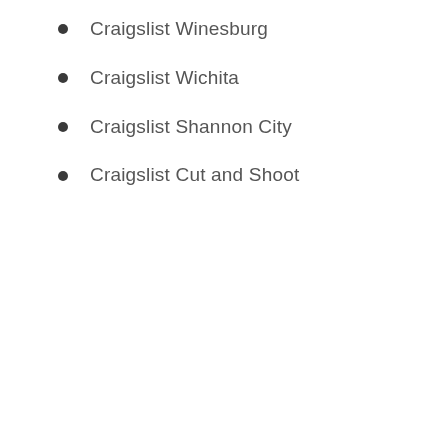Craigslist Winesburg
Craigslist Wichita
Craigslist Shannon City
Craigslist Cut and Shoot